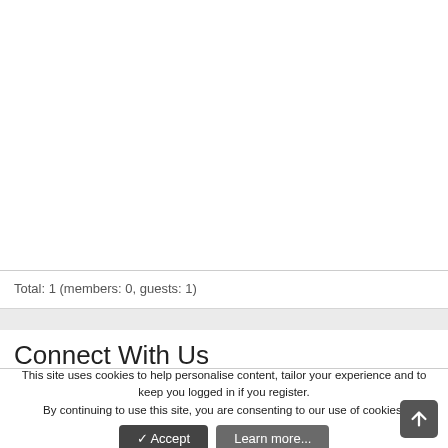Total: 1 (members: 0, guests: 1)
Connect With Us
This site uses cookies to help personalise content, tailor your experience and to keep you logged in if you register.
By continuing to use this site, you are consenting to our use of cookies.